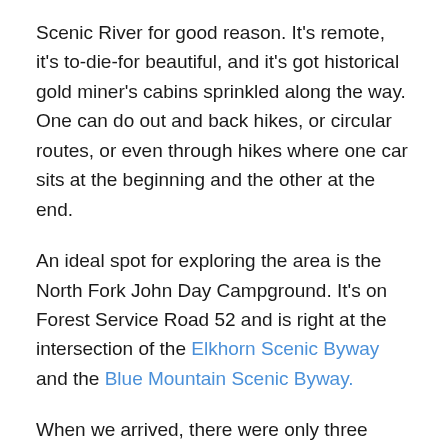Scenic River for good reason. It's remote, it's to-die-for beautiful, and it's got historical gold miner's cabins sprinkled along the way. One can do out and back hikes, or circular routes, or even through hikes where one car sits at the beginning and the other at the end.
An ideal spot for exploring the area is the North Fork John Day Campground. It's on Forest Service Road 52 and is right at the intersection of the Elkhorn Scenic Byway and the Blue Mountain Scenic Byway.
When we arrived, there were only three campsites occupied of the twenty available. Instead of camping at a drive-in site, we picked a walk in site right on the river. It had plenty of real estate and we couldn't see anyone from the site. Our first dinner was a skewer bbq – chicken with veggies on skewers and some rice.